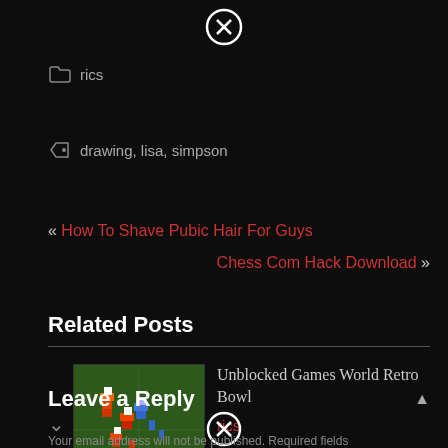[Figure (other): Close/X button circle icon at top center]
rics
drawing, lisa, simpson
« How To Shave Pubic Hair For Guys
Chess Com Hack Download »
Related Posts
[Figure (screenshot): Thumbnail image of a retro pixel art football game showing players on a green field with score overlay '1st G']
Unblocked Games World Retro Bowl
rics
Leave a Reply
[Figure (other): Close/X button circle icon at bottom center]
Your email address will not be published. Required fields